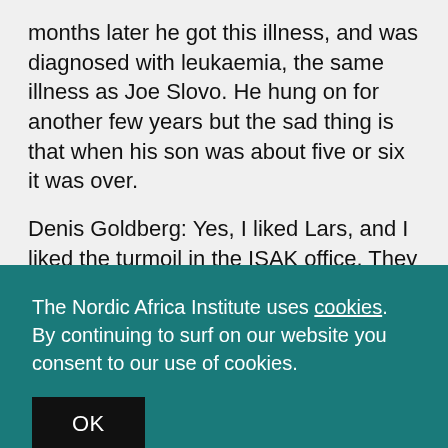months later he got this illness, and was diagnosed with leukaemia, the same illness as Joe Slovo. He hung on for another few years but the sad thing is that when his son was about five or six it was over.
Denis Goldberg: Yes, I liked Lars, and I liked the turmoil in the ISAK office. They organized concerts and jazz and musicians and were always busy, always with something fresh and new. When this organization was formed, they campaigned in a
The Nordic Africa Institute uses cookies. By continuing to surf on our website you consent to our use of cookies.
OK